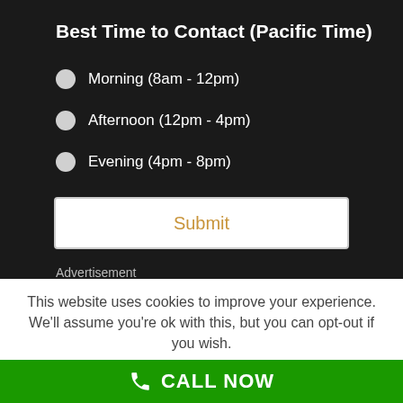Best Time to Contact (Pacific Time)
Morning (8am - 12pm)
Afternoon (12pm - 4pm)
Evening (4pm - 8pm)
Submit
Advertisement
This website uses cookies to improve your experience. We'll assume you're ok with this, but you can opt-out if you wish.
CALL NOW